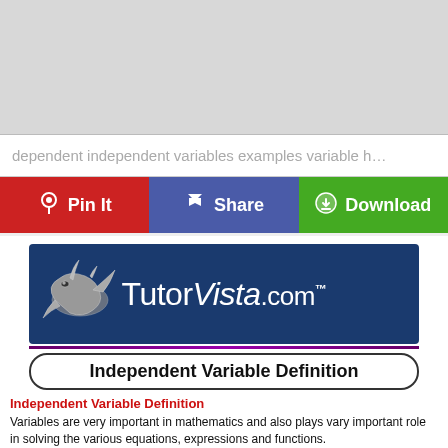[Figure (other): Gray advertisement placeholder block at top of page]
dependent independent variables examples variable h…
[Figure (other): Action bar with three buttons: Pin It (red), Share (blue/purple), Download (green)]
[Figure (logo): TutorVista.com logo banner with dolphin graphic on dark blue background]
Independent Variable Definition
Independent Variable Definition
Variables are very important in mathematics and also plays vary important role in solving the various equations, expressions and functions.
There are various letters present in the equations, expressions and also in functions like a, h, x, y, etc these letters are called variables.